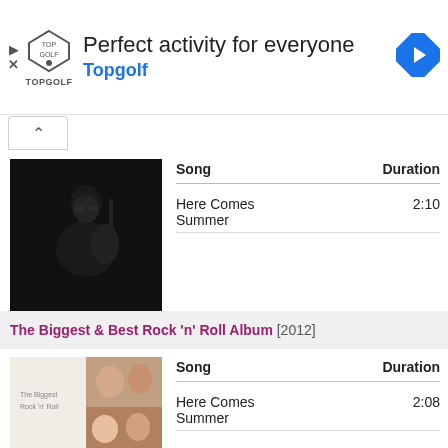[Figure (screenshot): Topgolf advertisement banner with logo, text 'Perfect activity for everyone', 'Topgolf' in blue, and a blue navigation arrow icon]
[Figure (photo): Dark photo of a man with sunglasses playing guitar, album art for a music release]
| Song | Duration |
| --- | --- |
| Here Comes Summer | 2:10 |
The Biggest & Best Rock 'n' Roll Album [2012]
[Figure (photo): Album cover collage of people's faces for 'The Biggest & Best Rock n Roll Album']
| Song | Duration |
| --- | --- |
| Here Comes Summer | 2:08 |